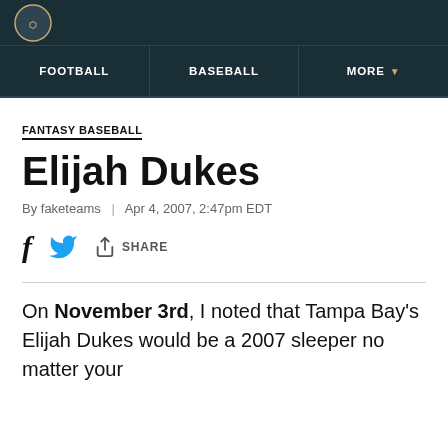FOOTBALL | BASEBALL | MORE
FANTASY BASEBALL
Elijah Dukes
By faketeams | Apr 4, 2007, 2:47pm EDT
SHARE
On November 3rd, I noted that Tampa Bay's Elijah Dukes would be a 2007 sleeper no matter your